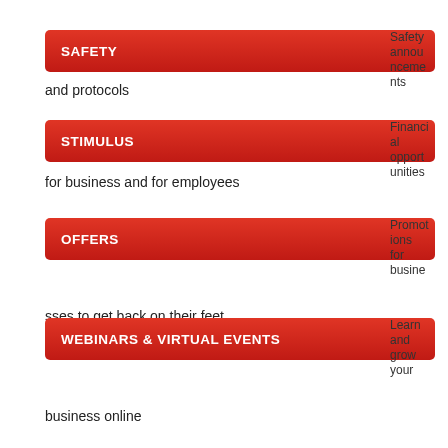SAFETY — Safety announcements and protocols
STIMULUS — Financial opportunities for business and for employees
OFFERS — Promotions for businesses to get back on their feet
WEBINARS & VIRTUAL EVENTS — Learn and grow your business online
POLICY CHANGES — Companies with policy and procedures updates
C-19 BIZ NEWS — Relevant business news